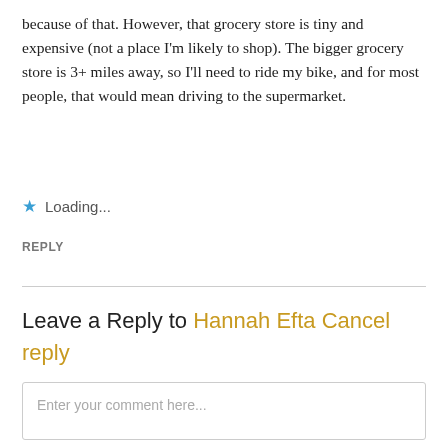because of that. However, that grocery store is tiny and expensive (not a place I'm likely to shop). The bigger grocery store is 3+ miles away, so I'll need to ride my bike, and for most people, that would mean driving to the supermarket.
★ Loading...
REPLY
Leave a Reply to Hannah Efta Cancel reply
Enter your comment here...